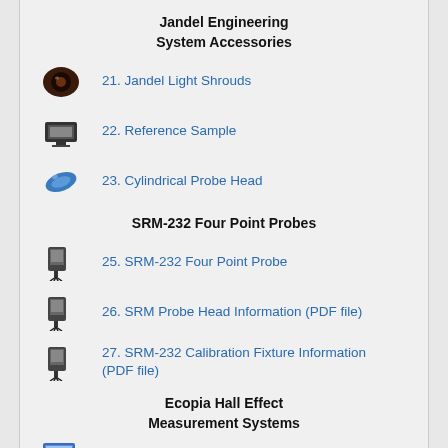Jandel Engineering System Accessories
21. Jandel Light Shrouds
22. Reference Sample
23. Cylindrical Probe Head
SRM-232 Four Point Probes
25. SRM-232 Four Point Probe
26. SRM Probe Head Information (PDF file)
27. SRM-232 Calibration Fixture Information (PDF file)
Ecopia Hall Effect Measurement Systems
28. Ecopia HMS-3000 Hall Measurement System